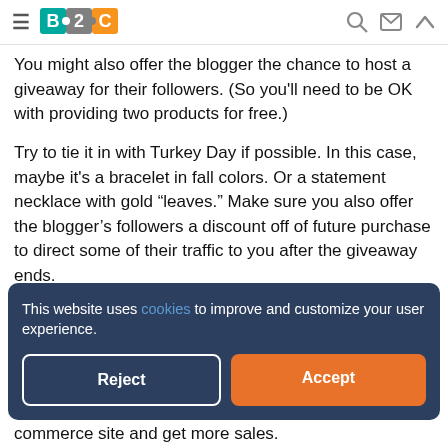B2C
You might also offer the blogger the chance to host a giveaway for their followers. (So you'll need to be OK with providing two products for free.)
Try to tie it in with Turkey Day if possible. In this case, maybe it's a bracelet in fall colors. Or a statement necklace with gold “leaves.” Make sure you also offer the blogger’s followers a discount off of future purchase to direct some of their traffic to you after the giveaway ends.
This website uses cookies to improve and customize your user experience.
Reject
Accept
commerce site and get more sales.